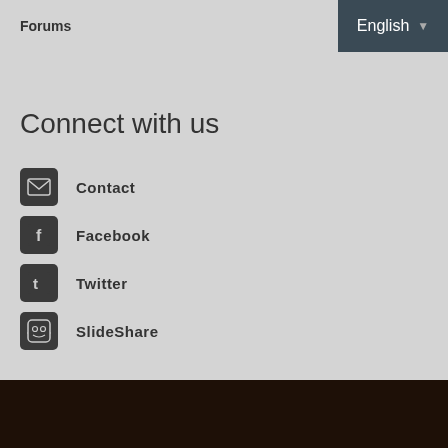Forums
Connect with us
Contact
Facebook
Twitter
SlideShare
Developed by: Zoomicon & CTI   This project   Lifelong